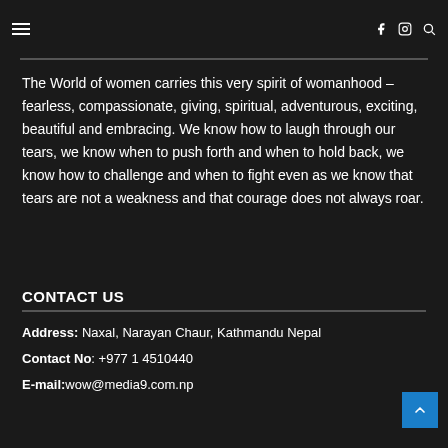≡  f  ⓘ  🔍
The World of women carries this very spirit of womanhood – fearless, compassionate, giving, spiritual, adventurous, exciting, beautiful and embracing. We know how to laugh through our tears, we know when to push forth and when to hold back, we know how to challenge and when to fight even as we know that tears are not a weakness and that courage does not always roar.
CONTACT US
Address: Naxal, Narayan Chaur, Kathmandu Nepal
Contact No: +977 1 4510440
E-mail: wow@media9.com.np